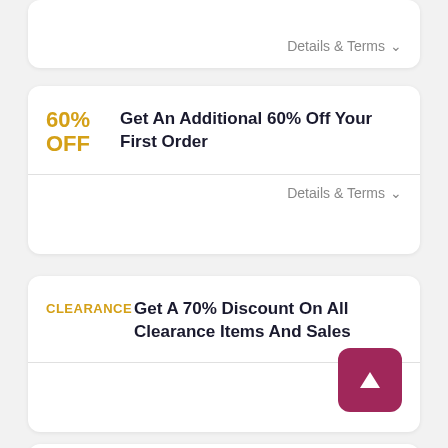Details & Terms
60% OFF
Get An Additional 60% Off Your First Order
Details & Terms
CLEARANCE
Get A 70% Discount On All Clearance Items And Sales
Details &
Never miss any Best Price Travel promo codes